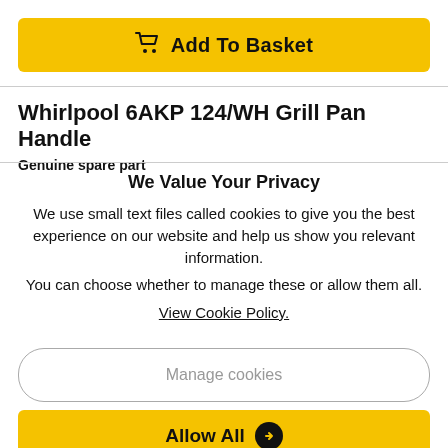Add To Basket
Whirlpool 6AKP 124/WH Grill Pan Handle
Genuine spare part
We Value Your Privacy
We use small text files called cookies to give you the best experience on our website and help us show you relevant information.
You can choose whether to manage these or allow them all.
View Cookie Policy.
Manage cookies
Allow All